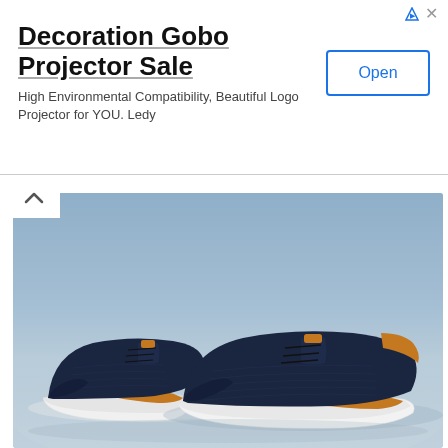Decoration Gobo Projector Sale — High Environmental Compatibility, Beautiful Logo Projector for YOU. Ledy — Open
[Figure (photo): A pair of navy blue knit casual sneakers with brown leather accents and white soles, displayed on a light blue textured surface against a gray-blue background.]